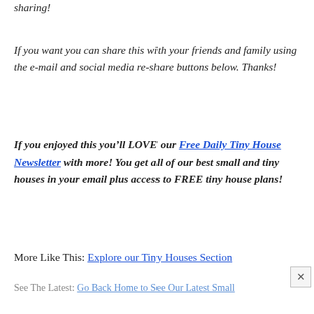sharing!
If you want you can share this with your friends and family using the e-mail and social media re-share buttons below. Thanks!
If you enjoyed this you’ll LOVE our Free Daily Tiny House Newsletter with more! You get all of our best small and tiny houses in your email plus access to FREE tiny house plans!
More Like This: Explore our Tiny Houses Section
See The Latest: Go Back Home to See Our Latest Small